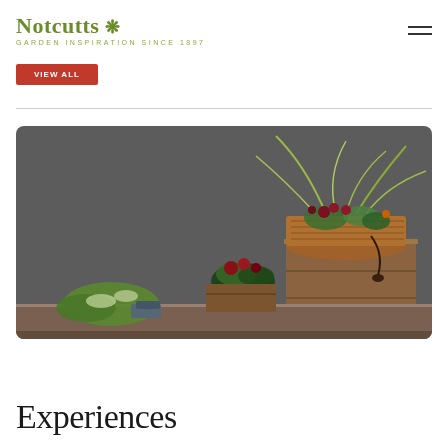Notcutts Garden Inspiration Since 1897
VIEW ALL
[Figure (photo): A wicker basket arrangement of mixed plants including ornamental grasses and dark red flowers, placed on a wooden crate. In the foreground are additional potted plants with variegated foliage and red geraniums, against a dark grey studio background.]
Experiences